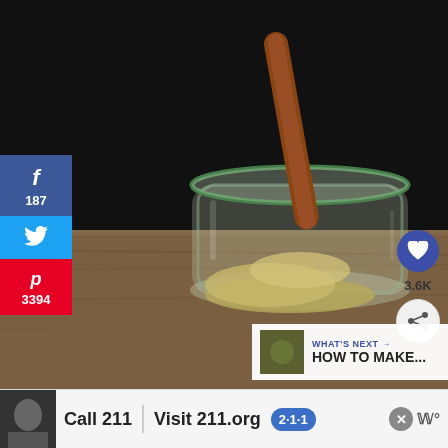[Figure (photo): A glass jar with a cinnamon stick and ground spices/powder inside, set on a wooden surface with dark background. Social media sharing buttons visible on the left side.]
f
187
🐦
p
3394
3.6K
WHAT'S NEXT → HOW TO MAKE...
Call 211 | Visit 211.org 2·1·1